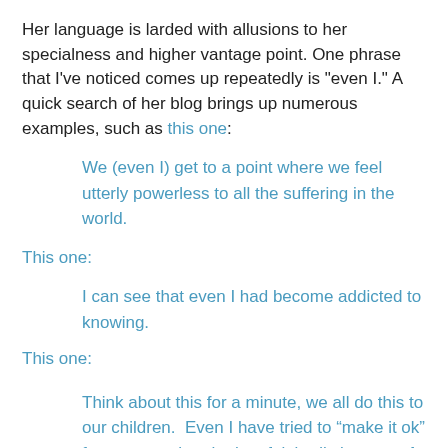Her language is larded with allusions to her specialness and higher vantage point. One phrase that I've noticed comes up repeatedly is "even I." A quick search of her blog brings up numerous examples, such as this one:
We (even I) get to a point where we feel utterly powerless to all the suffering in the world.
This one:
I can see that even I had become addicted to knowing.
This one:
Think about this for a minute, we all do this to our children.  Even I have tried to “make it ok” for my son when he has felt badly because I cannot